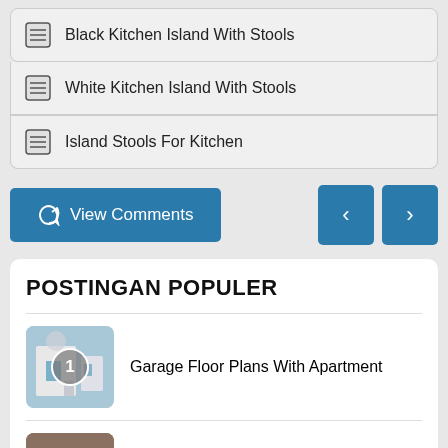Black Kitchen Island With Stools
White Kitchen Island With Stools
Island Stools For Kitchen
View Comments
POSTINGAN POPULER
Garage Floor Plans With Apartment
Micro Mansions